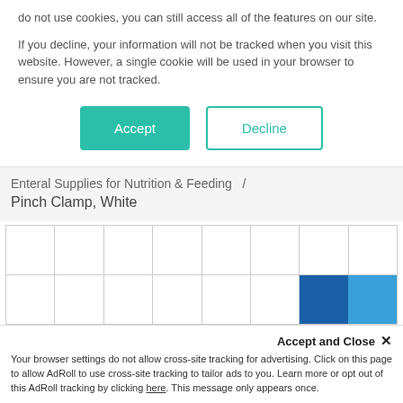do not use cookies, you can still access all of the features on our site.
If you decline, your information will not be tracked when you visit this website. However, a single cookie will be used in your browser to ensure you are not tracked.
Accept
Decline
Enteral Supplies for Nutrition & Feeding / Pinch Clamp, White
Accept and Close ×
Your browser settings do not allow cross-site tracking for advertising. Click on this page to allow AdRoll to use cross-site tracking to tailor ads to you. Learn more or opt out of this AdRoll tracking by clicking here. This message only appears once.